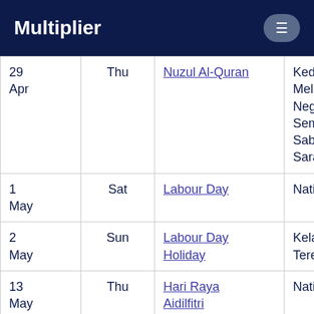Multiplier
| Date | Day | Holiday | Region |
| --- | --- | --- | --- |
| 29 Apr | Thu | Nuzul Al-Quran | Kedah, Melaka, Negeri Sembilan, Sabah & Sarawak |
| 1 May | Sat | Labour Day | National |
| 2 May | Sun | Labour Day Holiday | Kelantan & Terengganu |
| 13 May | Thu | Hari Raya Aidilfitri | National |